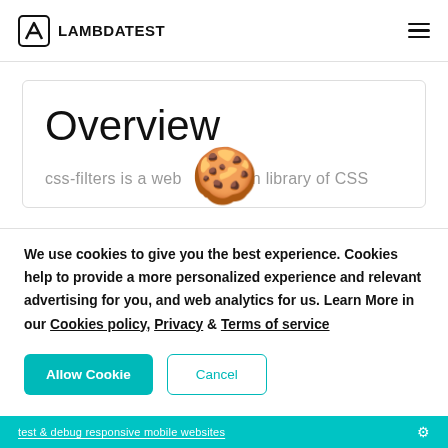LAMBDATEST
Overview
css-filters is a web design library of CSS
[Figure (illustration): Cookie emoji illustration used in cookie consent popup]
We use cookies to give you the best experience. Cookies help to provide a more personalized experience and relevant advertising for you, and web analytics for us. Learn More in our Cookies policy, Privacy & Terms of service
Allow Cookie   Cancel
test & debug responsive mobile websites